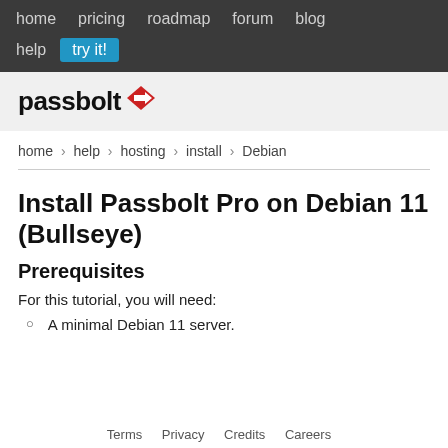home  pricing  roadmap  forum  blog  help  try it!
[Figure (logo): Passbolt logo with red diamond arrow icon]
home › help › hosting › install › Debian
Install Passbolt Pro on Debian 11 (Bullseye)
Prerequisites
For this tutorial, you will need:
A minimal Debian 11 server.
Terms  Privacy  Credits  Careers